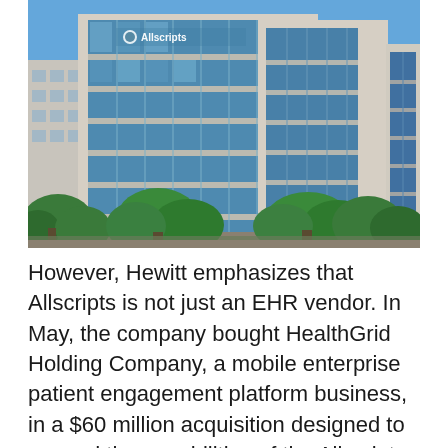[Figure (photo): Exterior photograph of an Allscripts office building — a modern multi-story glass and concrete structure with the Allscripts logo visible near the top. Blue sky background with green trees in the foreground.]
However, Hewitt emphasizes that Allscripts is not just an EHR vendor. In May, the company bought HealthGrid Holding Company, a mobile enterprise patient engagement platform business, in a $60 million acquisition designed to expand the capabilities of the Allscripts FollowMyHealth